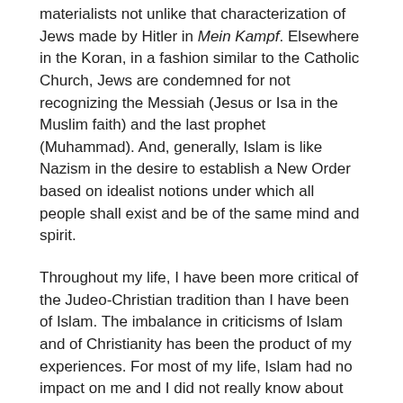materialists not unlike that characterization of Jews made by Hitler in Mein Kampf. Elsewhere in the Koran, in a fashion similar to the Catholic Church, Jews are condemned for not recognizing the Messiah (Jesus or Isa in the Muslim faith) and the last prophet (Muhammad). And, generally, Islam is like Nazism in the desire to establish a New Order based on idealist notions under which all people shall exist and be of the same mind and spirit.
Throughout my life, I have been more critical of the Judeo-Christian tradition than I have been of Islam. The imbalance in criticisms of Islam and of Christianity has been the product of my experiences. For most of my life, Islam had no impact on me and I did not really know about the situation of women and homosexuals under Islamic rule. The consequences of religion in my world were exclusively the result of Christian teachings and attitudes. I never hesitated to pin the blame for abortion